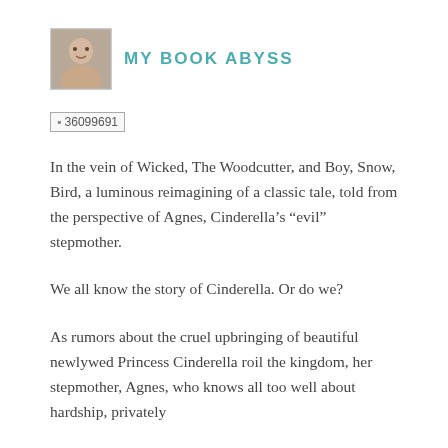[Figure (photo): Small square avatar photo of a person, used as a blog profile image]
MY BOOK ABYSS
[Figure (other): Broken image placeholder showing '36099691']
In the vein of Wicked, The Woodcutter, and Boy, Snow, Bird, a luminous reimagining of a classic tale, told from the perspective of Agnes, Cinderella's “evil” stepmother.
We all know the story of Cinderella. Or do we?
As rumors about the cruel upbringing of beautiful newlywed Princess Cinderella roil the kingdom, her stepmother, Agnes, who knows all too well about hardship, privately